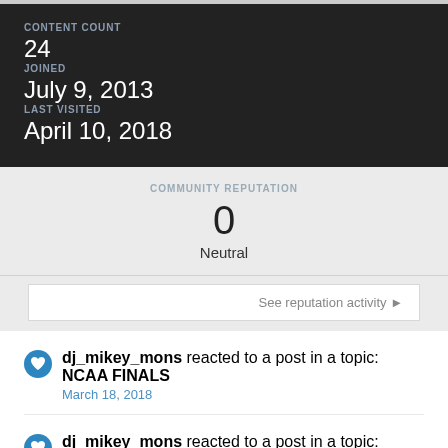CONTENT COUNT
24
JOINED
July 9, 2013
LAST VISITED
April 10, 2018
COMMUNITY REPUTATION
0
Neutral
See reputation activity ▶
dj_mikey_mons reacted to a post in a topic: NCAA FINALS
March 18, 2018
dj_mikey_mons reacted to a post in a topic: Spencer Lee - a